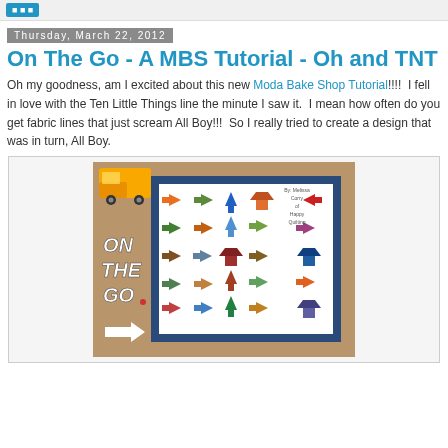Thursday, March 22, 2012
On The Go - A MBS Tutorial - Oh and TNT
Oh my goodness, am I excited about this new Moda Bake Shop Tutorial!!!!  I fell in love with the Ten Little Things line the minute I saw it.  I mean how often do you get fabric lines that just scream All Boy!!!  So I really tried to create a design that was in turn, All Boy.
[Figure (photo): Photo of a quilt laid flat on a floor with colorful arrow and house patchwork squares arranged in a grid pattern with blue border. Text 'ON THE GO' overlaid on the left side. A yellow toy truck is visible in the top-left corner. Credit reads 'By: Melissa Corry of Happy Quilting'.]